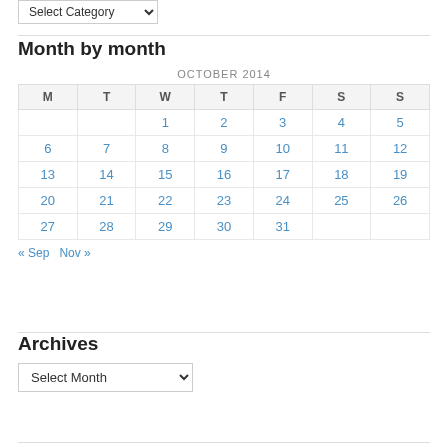Select Category (dropdown widget at top)
Month by month
| M | T | W | T | F | S | S |
| --- | --- | --- | --- | --- | --- | --- |
|  |  | 1 | 2 | 3 | 4 | 5 |
| 6 | 7 | 8 | 9 | 10 | 11 | 12 |
| 13 | 14 | 15 | 16 | 17 | 18 | 19 |
| 20 | 21 | 22 | 23 | 24 | 25 | 26 |
| 27 | 28 | 29 | 30 | 31 |  |  |
« Sep   Nov »
Archives
Select Month (dropdown)